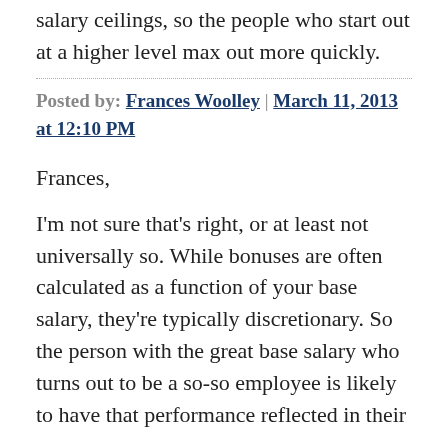salary ceilings, so the people who start out at a higher level max out more quickly.
Posted by: Frances Woolley | March 11, 2013 at 12:10 PM
Frances,
I'm not sure that's right, or at least not universally so. While bonuses are often calculated as a function of your base salary, they're typically discretionary. So the person with the great base salary who turns out to be a so-so employee is likely to have that performance reflected in their